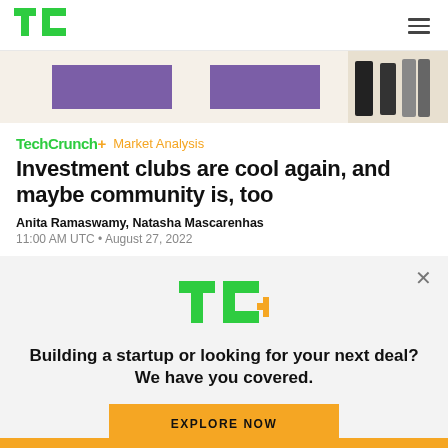TechCrunch
[Figure (photo): Hero image strip showing purple rectangles and fashion/clothing imagery on a cream background]
TechCrunch+ Market Analysis
Investment clubs are cool again, and maybe community is, too
Anita Ramaswamy, Natasha Mascarenhas
11:00 AM UTC • August 27, 2022
[Figure (logo): TC+ logo in green with yellow plus sign]
Building a startup or looking for your next deal? We have you covered.
EXPLORE NOW